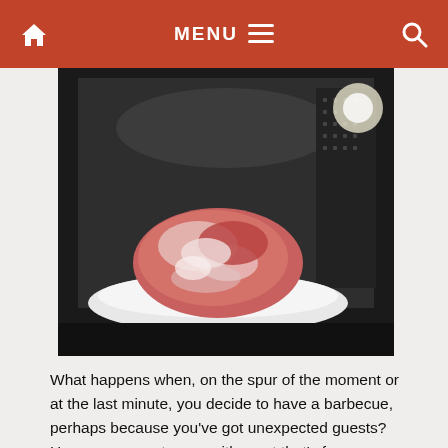MENU
[Figure (photo): A piece of frozen raw meat on a white plate inside a microwave oven. The microwave interior is visible with dark metallic walls and a light on the right side.]
What happens when, on the spur of the moment or at the last minute, you decide to have a barbecue, perhaps because you've got unexpected guests? How can you get away with meat that's frozen solid? Well, there are a few ways to tackle this challenge.
READ MORE